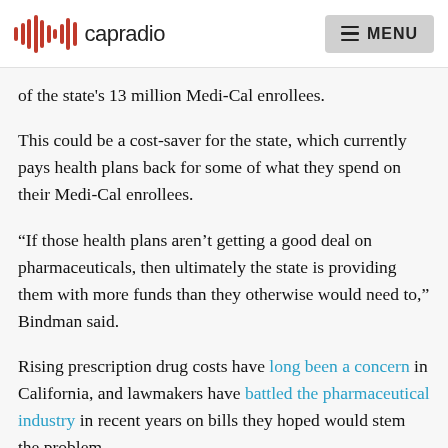capradio | MENU
of the state's 13 million Medi-Cal enrollees.
This could be a cost-saver for the state, which currently pays health plans back for some of what they spend on their Medi-Cal enrollees.
“If those health plans aren’t getting a good deal on pharmaceuticals, then ultimately the state is providing them with more funds than they otherwise would need to,” Bindman said.
Rising prescription drug costs have long been a concern in California, and lawmakers have battled the pharmaceutical industry in recent years on bills they hoped would stem the problem.
In his executive order, Newsom states that “bargaining asymmetry,” in which powerful